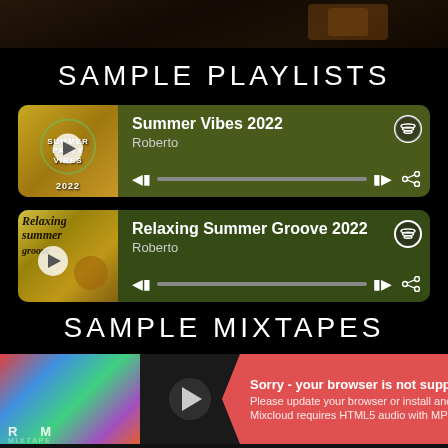[Figure (screenshot): Dark background decorative image strip at top]
SAMPLE PLAYLISTS
[Figure (screenshot): Spotify playlist card: Summer Vibes 2022 by Roberto with playback controls]
[Figure (screenshot): Spotify playlist card: Relaxing Summer Groove 2022 by Roberto with playback controls]
SAMPLE MIXTAPES
[Figure (screenshot): Mixcloud player showing a mixtape with error: Sorry - your browser is not supported.]